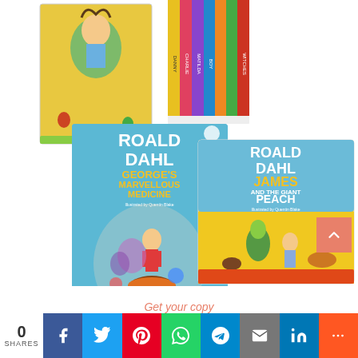[Figure (photo): Photo of Roald Dahl books: top left shows a colorful illustrated book cover, top right shows a row of Roald Dahl book spines, bottom shows two books: George's Marvellous Medicine and James and the Giant Peach, both illustrated by Quentin Blake, published by Puffin.]
Get your copy
0
SHARES